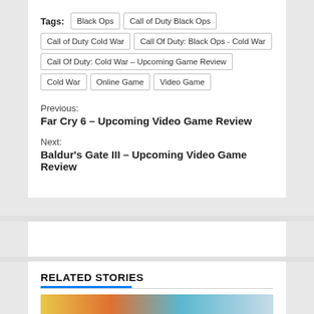Tags: Black Ops | Call of Duty Black Ops | Call of Duty Cold War | Call Of Duty: Black Ops - Cold War | Call Of Duty: Cold War – Upcoming Game Review | Cold War | Online Game | Video Game
Previous: Far Cry 6 – Upcoming Video Game Review
Next: Baldur's Gate III – Upcoming Video Game Review
RELATED STORIES
[Figure (photo): Colorful image thumbnail for a related story]